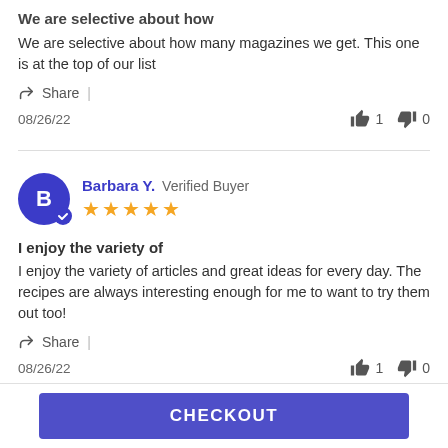We are selective about how
We are selective about how many magazines we get. This one is at the top of our list
Share |
08/26/22  👍 1  👎 0
Barbara Y.  Verified Buyer  ★★★★★
I enjoy the variety of
I enjoy the variety of articles and great ideas for every day. The recipes are always interesting enough for me to want to try them out too!
Share |
08/26/22  👍 1  👎 0
CHECKOUT